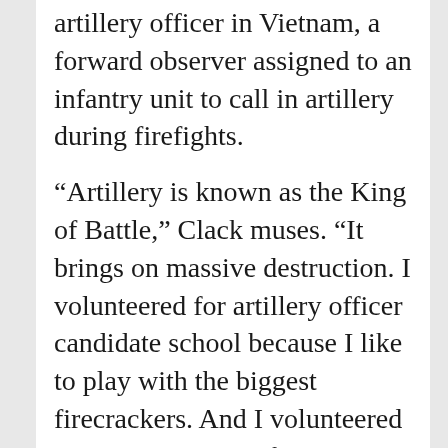artillery officer in Vietnam, a forward observer assigned to an infantry unit to call in artillery during firefights.
“Artillery is known as the King of Battle,” Clack muses. “It brings on massive destruction. I volunteered for artillery officer candidate school because I like to play with the biggest firecrackers. And I volunteered to go to Vietnam a few times before I finally got orders. I had to find out if I was half the man my dad was! He was a World War II and Korea veteran.”
After being in country for eight